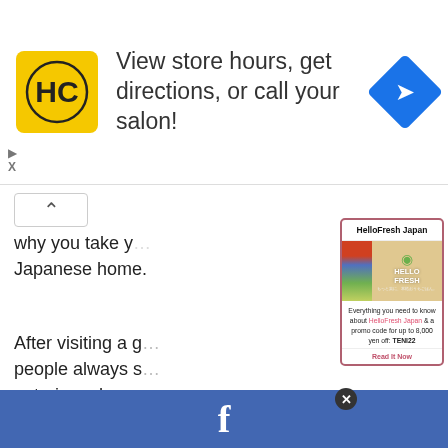[Figure (screenshot): Advertisement banner for HC (hair salon) with yellow logo, text 'View store hours, get directions, or call your salon!' and a blue navigation icon]
why you take y... Japanese home.
After visiting a g... people always s... entering a house
Another time yo... when sumo wre... a platter of salt... restaurant.
[Figure (screenshot): HelloFresh Japan popup ad showing HelloFresh Japan logo on a box, with text: 'Everything you need to know about HelloFresh Japan & a promo code for up to 8,000 yen off: TENI22' and a 'Read It Now' call to action]
[Figure (screenshot): Facebook share bar at the bottom of the page (blue bar with 'f' logo)]